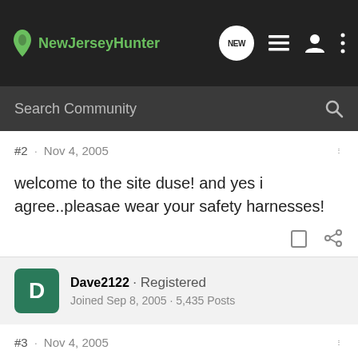[Figure (screenshot): NewJerseyHunter website navigation bar with logo, search bubble icon, hamburger menu, user icon, and more options icon]
Search Community
#2 · Nov 4, 2005
welcome to the site duse! and yes i agree..pleasae wear your safety harnesses!
Dave2122 · Registered
Joined Sep 8, 2005 · 5,435 Posts
#3 · Nov 4, 2005